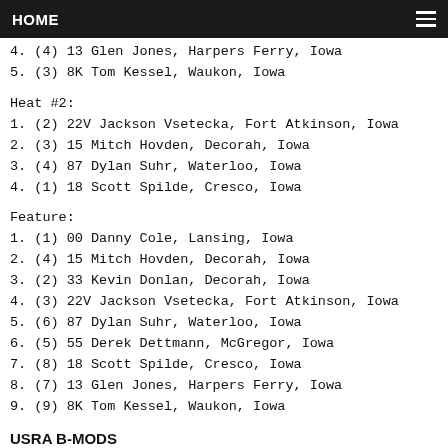HOME
4. (4) 13 Glen Jones, Harpers Ferry, Iowa
5. (3) 8K Tom Kessel, Waukon, Iowa
Heat #2:
1. (2) 22V Jackson Vsetecka, Fort Atkinson, Iowa
2. (3) 15 Mitch Hovden, Decorah, Iowa
3. (4) 87 Dylan Suhr, Waterloo, Iowa
4. (1) 18 Scott Spilde, Cresco, Iowa
Feature:
1. (1) 00 Danny Cole, Lansing, Iowa
2. (4) 15 Mitch Hovden, Decorah, Iowa
3. (2) 33 Kevin Donlan, Decorah, Iowa
4. (3) 22V Jackson Vsetecka, Fort Atkinson, Iowa
5. (6) 87 Dylan Suhr, Waterloo, Iowa
6. (5) 55 Derek Dettmann, McGregor, Iowa
7. (8) 18 Scott Spilde, Cresco, Iowa
8. (7) 13 Glen Jones, Harpers Ferry, Iowa
9. (9) 8K Tom Kessel, Waukon, Iowa
USRA B-MODS